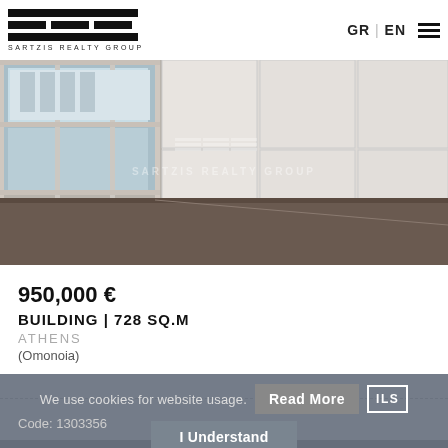[Figure (logo): Sartzis Realty Group logo with horizontal bars and text]
GR | EN
[Figure (photo): Interior photo of an empty room with large windows, white walls, and dark flooring. Sartzis Realty Group watermark visible.]
950,000 €
BUILDING | 728 SQ.M
ATHENS
(Omonoia)
We use cookies for website usage.
Read More
ILS
Code: 1303356
I Understand